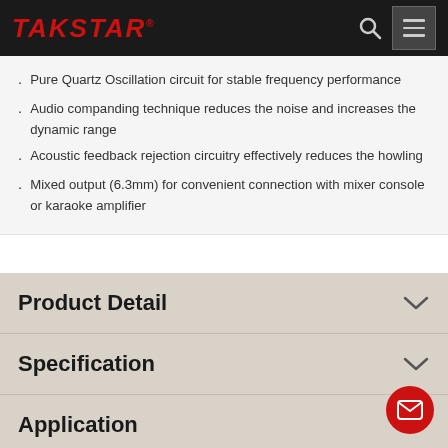TAKSTAR
Pure Quartz Oscillation circuit for stable frequency performance
Audio companding technique reduces the noise and increases the dynamic range
Acoustic feedback rejection circuitry effectively reduces the howling
Mixed output (6.3mm) for convenient connection with mixer console or karaoke amplifier
Product Detail
Specification
Application